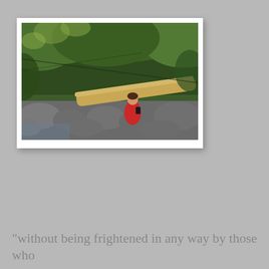[Figure (photo): A person in a red dress sitting on rocks among fallen logs and lush green trees in a forest/riverside setting, reading or using a device.]
"without being frightened in any way by those who